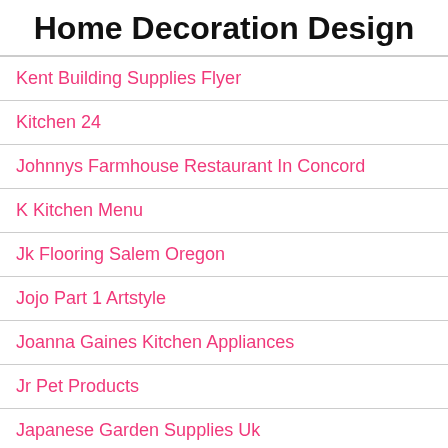Home Decoration Design
Kent Building Supplies Flyer
Kitchen 24
Johnnys Farmhouse Restaurant In Concord
K Kitchen Menu
Jk Flooring Salem Oregon
Jojo Part 1 Artstyle
Joanna Gaines Kitchen Appliances
Jr Pet Products
Japanese Garden Supplies Uk
K Bathroom Items
K Home Decor Mississauga